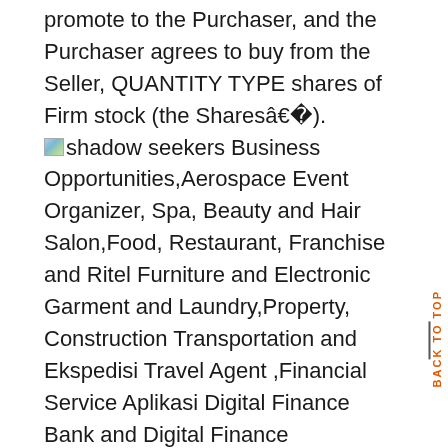promote to the Purchaser, and the Purchaser agrees to buy from the Seller, QUANTITY TYPE shares of Firm stock (the Sharesâ€).
shadow seekers Business Opportunities,Aerospace Event Organizer, Spa, Beauty and Hair Salon,Food, Restaurant, Franchise and Ritel Furniture and Electronic Garment and Laundry,Property, Construction Transportation and Ekspedisi Travel Agent ,Financial Service Aplikasi Digital Finance Bank and Digital Finance Inclusion,Blockchain and Cryptocurrency Loans and Mortgage Insurance,Stock Market, Trading and Forex Industries Automotive and Air Craft,Creative Mining, Plantation, Forestry and Agryculture ,Pharmaceuticals and Herbal Telecommunication News Analysis Banking and